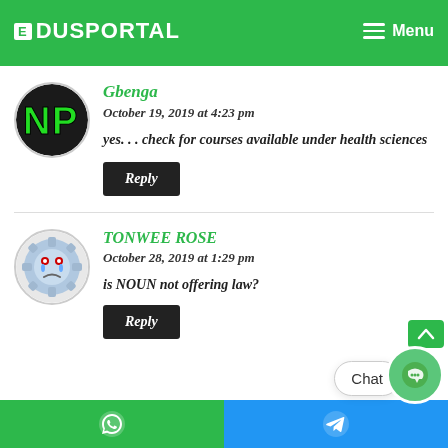EDUSPORTAL  Menu
Gbenga
October 19, 2019 at 4:23 pm
yes. . . check for courses available under health sciences
Reply
TONWEE ROSE
October 28, 2019 at 1:29 pm
is NOUN not offering law?
Reply
Chat